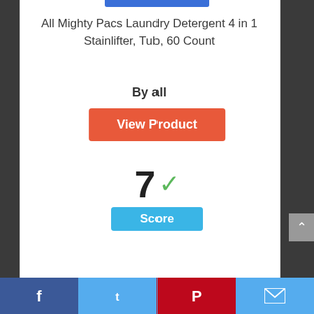All Mighty Pacs Laundry Detergent 4 in 1 Stainlifter, Tub, 60 Count
By all
View Product
7 Score
10
Facebook | Twitter | Pinterest | Email